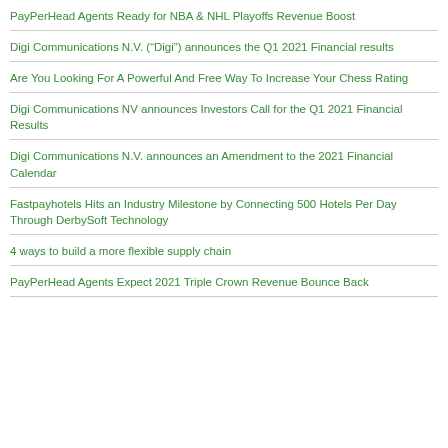PayPerHead Agents Ready for NBA & NHL Playoffs Revenue Boost
Digi Communications N.V. (“Digi”) announces the Q1 2021 Financial results
Are You Looking For A Powerful And Free Way To Increase Your Chess Rating
Digi Communications NV announces Investors Call for the Q1 2021 Financial Results
Digi Communications N.V. announces an Amendment to the 2021 Financial Calendar
Fastpayhotels Hits an Industry Milestone by Connecting 500 Hotels Per Day Through DerbySoft Technology
4 ways to build a more flexible supply chain
PayPerHead Agents Expect 2021 Triple Crown Revenue Bounce Back